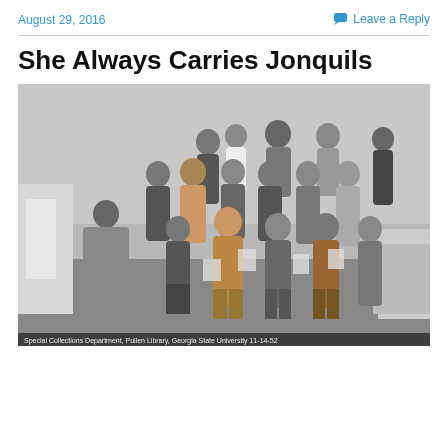August 29, 2016
Leave a Reply
She Always Carries Jonquils
[Figure (photo): Black and white photograph of a group of approximately 20 African-American women and one man gathered in an interior room, some seated and some standing, facing a presenter with their backs to the camera. A decorative wallpapered wall is visible in the background. Caption at the bottom reads: Special Collections Department, Pullen Library, Georgia State University  11-14-52]
Special Collections Department, Pullen Library, Georgia State University  11-14-52